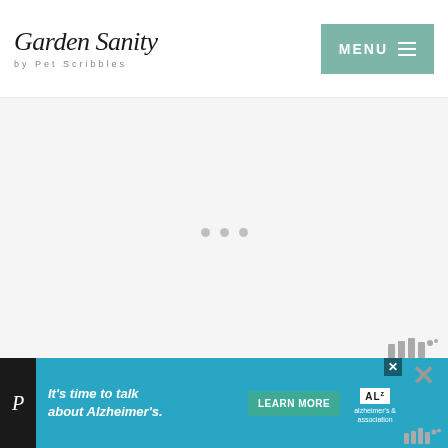Garden Sanity by Pet Scribbles | MENU
[Figure (screenshot): Loading placeholder area with three grey dots indicating content loading]
[Figure (logo): Mediavine logo watermark in bottom right of content area]
[Figure (screenshot): Advertisement banner: It's time to talk about Alzheimer's. LEARN MORE. Alzheimer's Association logo with close button.]